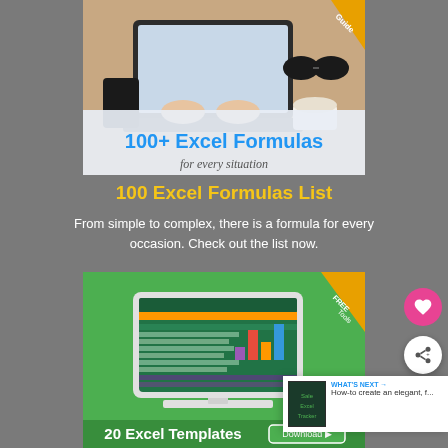[Figure (illustration): Book cover showing hands typing on a laptop with coffee and sunglasses on a desk. Title reads '100+ Excel Formulas for every situation'. Yellow 'Guide' badge in top-right corner.]
100 Excel Formulas List
From simple to complex, there is a formula for every occasion. Check out the list now.
[Figure (illustration): Promotional image for '20 Excel Templates' on a green background. Shows a desktop computer displaying an Excel spreadsheet with a bar chart. Orange 'FREE Tools' badge in top-right corner. Download button in bottom right.]